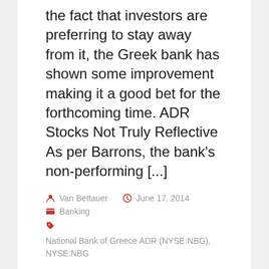the fact that investors are preferring to stay away from it, the Greek bank has shown some improvement making it a good bet for the forthcoming time. ADR Stocks Not Truly Reflective As per Barrons, the bank's non-performing [...]
Van Bettauer   June 17, 2014
Banking
National Bank of Greece ADR (NYSE:NBG), NYSE:NBG
National Bank of Greece (ADR) (NYSE:NBG): The Good News In